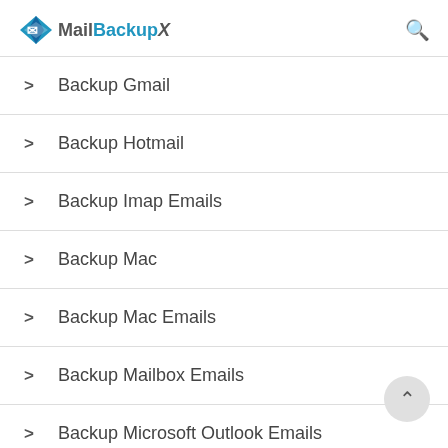Mail Backup X
> Backup Gmail
> Backup Hotmail
> Backup Imap Emails
> Backup Mac
> Backup Mac Emails
> Backup Mailbox Emails
> Backup Microsoft Outlook Emails